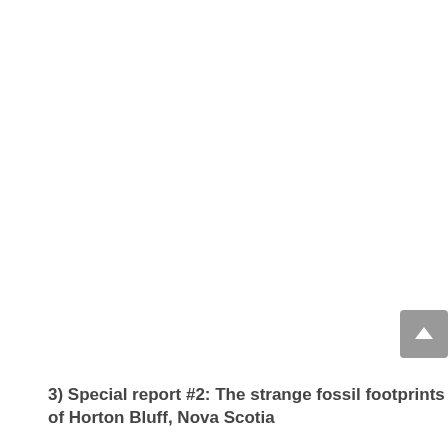[Figure (other): Scroll-to-top button UI element: a grey rounded rectangle with a white upward-pointing chevron arrow, positioned at the right edge of the page]
3) Special report #2: The strange fossil footprints of Horton Bluff, Nova Scotia